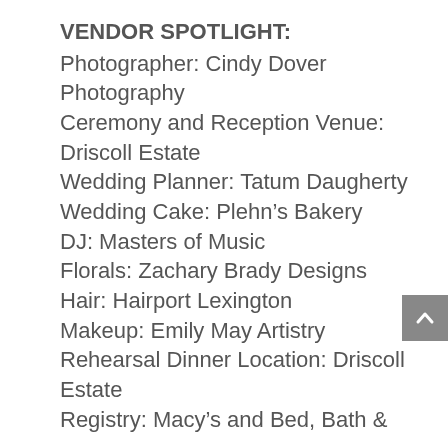VENDOR SPOTLIGHT:
Photographer: Cindy Dover Photography
Ceremony and Reception Venue: Driscoll Estate
Wedding Planner: Tatum Daugherty
Wedding Cake: Plehn’s Bakery
DJ: Masters of Music
Florals: Zachary Brady Designs
Hair: Hairport Lexington
Makeup: Emily May Artistry
Rehearsal Dinner Location: Driscoll Estate
Registry: Macy’s and Bed, Bath &